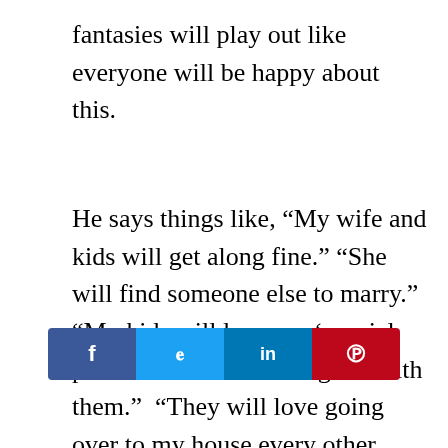fantasies will play out like everyone will be happy about this.
He says things like, “My wife and kids will get along fine.” “She will find someone else to marry.” “My kids will love my ‘special person’ and she will be great with them.”  “They will love going over to my house every other weekend, it will be like a mini vacation.”  “It will be just like Demi, Bruce and Ashton – one big happy family.”  Obviously it is very difficult to understand how one could be so
[Figure (infographic): Social sharing bar with Facebook (f), Twitter (bird), LinkedIn (in), and Pinterest (P) buttons]